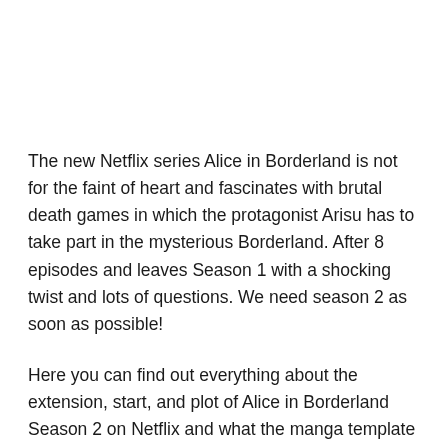The new Netflix series Alice in Borderland is not for the faint of heart and fascinates with brutal death games in which the protagonist Arisu has to take part in the mysterious Borderland. After 8 episodes and leaves Season 1 with a shocking twist and lots of questions. We need season 2 as soon as possible!
Here you can find out everything about the extension, start, and plot of Alice in Borderland Season 2 on Netflix and what the manga template reveals about the series sequel. And if you already want to know how the manga ends, you'll find it at the end of the article.